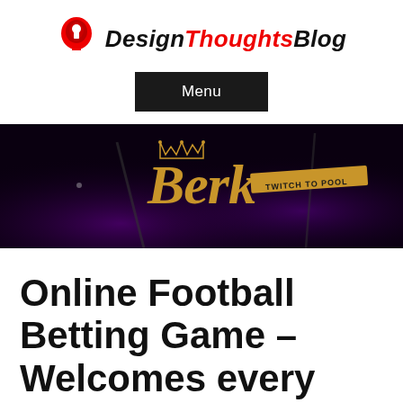Design Thoughts Blog
[Figure (logo): Navigation menu button with black background and white 'Menu' text]
[Figure (illustration): Dark banner with purple lighting effects showing the 'Berk' brand logo in gold calligraphic script with a crown, and tagline 'TWITCH TO POOL']
Online Football Betting Game – Welcomes every one of you